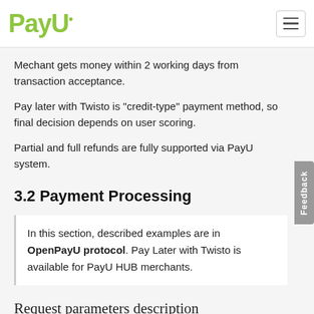PayU
Mechant gets money within 2 working days from transaction acceptance.
Pay later with Twisto is "credit-type" payment method, so final decision depends on user scoring.
Partial and full refunds are fully supported via PayU system.
3.2 Payment Processing
In this section, described examples are in OpenPayU protocol. Pay Later with Twisto is available for PayU HUB merchants.
Request parameters description
| Parameters | Description | Required |
| --- | --- | --- |